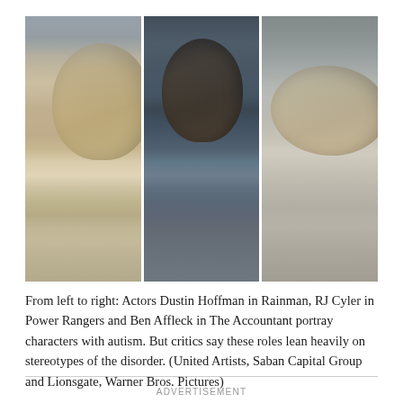[Figure (photo): Three film still photos side by side: left shows Dustin Hoffman in Rain Man, center shows RJ Cyler in Power Rangers, right shows Ben Affleck in The Accountant. Each is a close-up portrait of the actor's face.]
From left to right: Actors Dustin Hoffman in Rainman, RJ Cyler in Power Rangers and Ben Affleck in The Accountant portray characters with autism. But critics say these roles lean heavily on stereotypes of the disorder. (United Artists, Saban Capital Group and Lionsgate, Warner Bros. Pictures)
ADVERTISEMENT